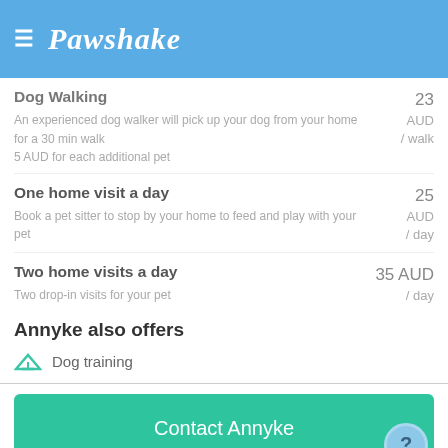Pawshake
Dog Walking
An experienced dog walker will pick up your dog from your home for a 30 min walk
5 AUD for each additional pet
25 AUD / walk
One home visit a day
Book a pet sitter to stop by your home to feed and play with your pet
25 AUD / day
Two home visits a day
Two drop-in visits for your pet
35 AUD / day
Annyke also offers
Dog training
Contact Annyke